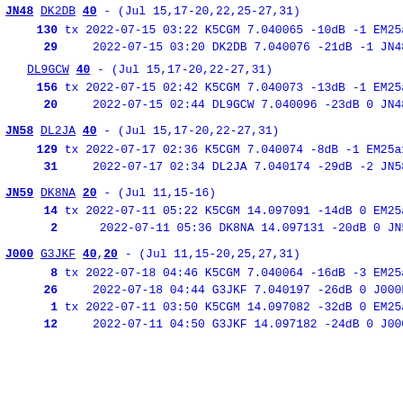JN48 DK2DB 40 - (Jul 15,17-20,22,25-27,31)
130 tx 2022-07-15 03:22 K5CGM 7.040065 -10dB -1 EM25ax
29 2022-07-15 03:20 DK2DB 7.040076 -21dB -1 JN48fu
DL9GCW 40 - (Jul 15,17-20,22-27,31)
156 tx 2022-07-15 02:42 K5CGM 7.040073 -13dB -1 EM25ax
20 2022-07-15 02:44 DL9GCW 7.040096 -23dB 0 JN48vo
JN58 DL2JA 40 - (Jul 15,17-20,22-27,31)
129 tx 2022-07-17 02:36 K5CGM 7.040074 -8dB -1 EM25ax
31 2022-07-17 02:34 DL2JA 7.040174 -29dB -2 JN58vk
JN59 DK8NA 20 - (Jul 11,15-16)
14 tx 2022-07-11 05:22 K5CGM 14.097091 -14dB 0 EM25ax
2 2022-07-11 05:36 DK8NA 14.097131 -20dB 0 JN59mn
J000 G3JKF 40,20 - (Jul 11,15-20,25,27,31)
8 tx 2022-07-18 04:46 K5CGM 7.040064 -16dB -3 EM25ax
26 2022-07-18 04:44 G3JKF 7.040197 -26dB 0 J000bs
1 tx 2022-07-11 03:50 K5CGM 14.097082 -32dB 0 EM25ax
12 2022-07-11 04:50 G3JKF 14.097182 -24dB 0 J000bs